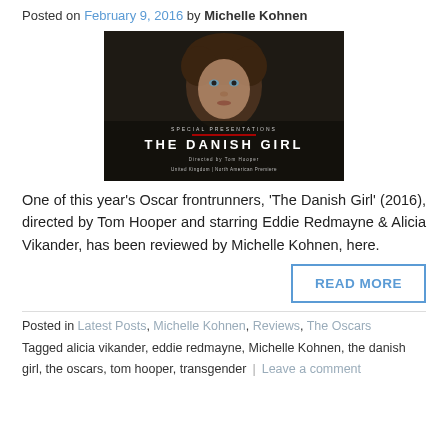Posted on February 9, 2016 by Michelle Kohnen
[Figure (photo): Movie poster/still for 'The Danish Girl' showing a person with curly hair in soft lighting, with film title text overlay reading 'THE DANISH GIRL' and 'Special Presentations, Directed by Tom Hooper, United Kingdom | North American Premiere']
One of this year's Oscar frontrunners, 'The Danish Girl' (2016), directed by Tom Hooper and starring Eddie Redmayne & Alicia Vikander, has been reviewed by Michelle Kohnen, here.
READ MORE
Posted in Latest Posts, Michelle Kohnen, Reviews, The Oscars
Tagged alicia vikander, eddie redmayne, Michelle Kohnen, the danish girl, the oscars, tom hooper, transgender | Leave a comment